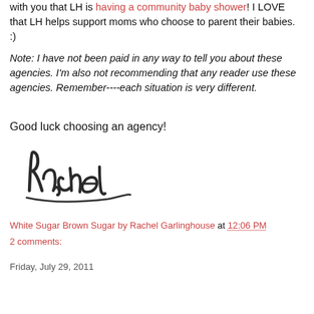with you that LH is having a community baby shower! I LOVE that LH helps support moms who choose to parent their babies. :)
Note: I have not been paid in any way to tell you about these agencies. I'm also not recommending that any reader use these agencies. Remember----each situation is very different.
Good luck choosing an agency!
[Figure (illustration): Handwritten cursive signature reading 'Rachel' in dark ink]
White Sugar Brown Sugar by Rachel Garlinghouse at 12:06 PM
2 comments:
Friday, July 29, 2011